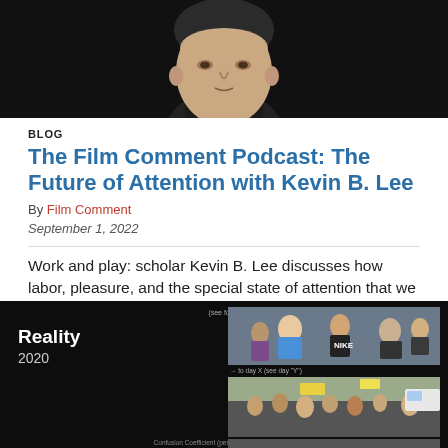[Figure (photo): Black and white portrait photo of a man (Kevin B. Lee) from shoulders up against a dark background]
BLOG
The Film Comment Podcast: The Future of Attention with Kevin B. Lee
By Film Comment
September 1, 2022
Work and play: scholar Kevin B. Lee discusses how labor, pleasure, and the special state of attention that we call cinema
[Figure (screenshot): Screenshot of a video essay or film essay interface showing 'Reality 2020' text on the left and multiple film stills on the right showing crowds of people at what appears to be protests or public gatherings]